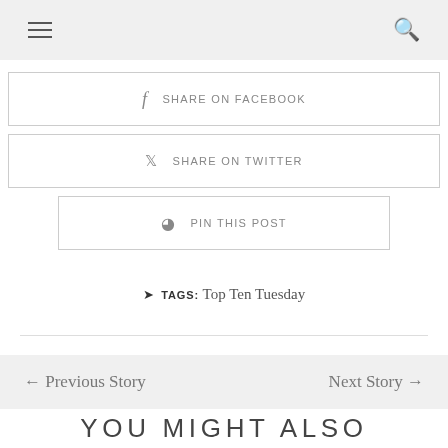☰  🔍
f  SHARE ON FACEBOOK
🐦  SHARE ON TWITTER
⊕  PIN THIS POST
🏷 TAGS: Top Ten Tuesday
← Previous Story    Next Story →
YOU MIGHT ALSO